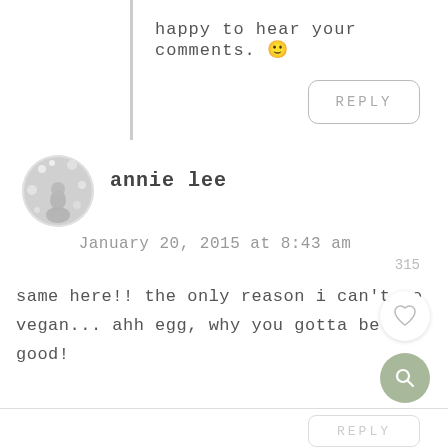happy to hear your comments. 🙂
REPLY
annie lee
January 20, 2015 at 8:43 am
315
same here!! the only reason i can't go vegan... ahh egg, why you gotta be so good!
REPLY